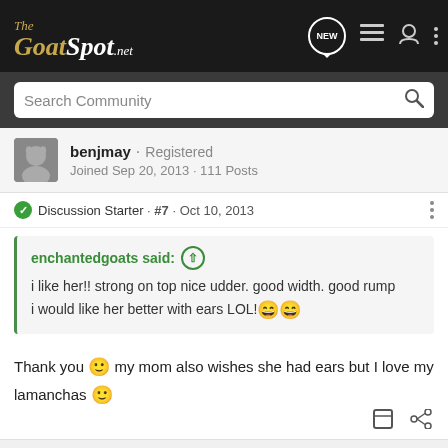The GoatSpot.net
Search Community
benjmay · Registered
Joined Sep 20, 2013 · 111 Posts
Discussion Starter · #7 · Oct 10, 2013
enchantedgoats said:
i like her!! strong on top nice udder. good width. good rump
i would like her better with ears LOL!
Thank you 🙂 my mom also wishes she had ears but I love my lamanchas 🙂